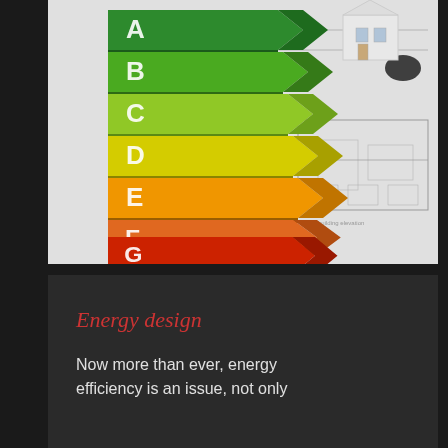[Figure (illustration): 3D energy efficiency rating chart with arrow-shaped bars labeled A through G from top to bottom, colored green to red (A=dark green, B=medium green, C=light green, D=yellow, E=light orange, F=orange, G=red), displayed on top of architectural building floor plan drawings with a small model house in the background.]
Energy design
Now more than ever, energy efficiency is an issue, not only